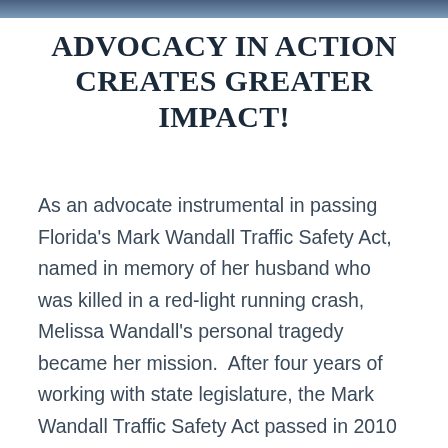ADVOCACY IN ACTION CREATES GREATER IMPACT!
As an advocate instrumental in passing Florida's Mark Wandall Traffic Safety Act, named in memory of her husband who was killed in a red-light running crash, Melissa Wandall's personal tragedy became her mission.  After four years of working with state legislature, the Mark Wandall Traffic Safety Act passed in 2010 allowing Florida communities to utilize red-light safety